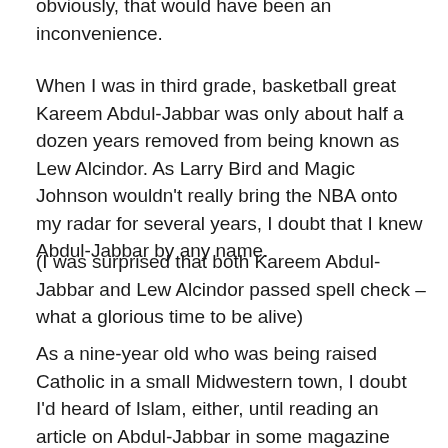obviously, that would have been an inconvenience.
When I was in third grade, basketball great Kareem Abdul-Jabbar was only about half a dozen years removed from being known as Lew Alcindor. As Larry Bird and Magic Johnson wouldn't really bring the NBA onto my radar for several years, I doubt that I knew Abdul-Jabbar by any name.
(I was surprised that both Kareem Abdul-Jabbar and Lew Alcindor passed spell check – what a glorious time to be alive)
As a nine-year old who was being raised Catholic in a small Midwestern town, I doubt I'd heard of Islam, either, until reading an article on Abdul-Jabbar in some magazine (probably Sports Illustrated).